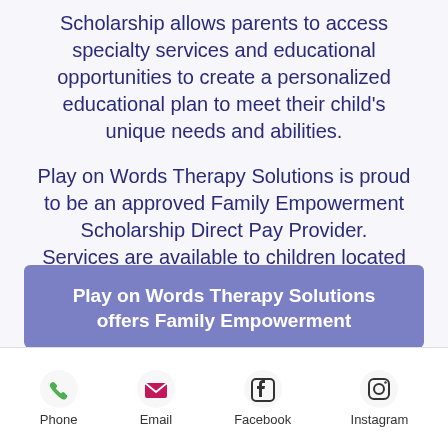Scholarship allows parents to access specialty services and educational opportunities to create a personalized educational plan to meet their child's unique needs and abilities.
Play on Words Therapy Solutions is proud to be an approved Family Empowerment Scholarship Direct Pay Provider. Services are available to children located anywhere in the state of Florida!
Play on Words Therapy Solutions offers Family Empowerment
[Figure (infographic): Mobile app footer bar with four icons: Phone (green phone icon), Email (pink envelope icon), Facebook (blue Facebook icon), Instagram (black Instagram icon)]